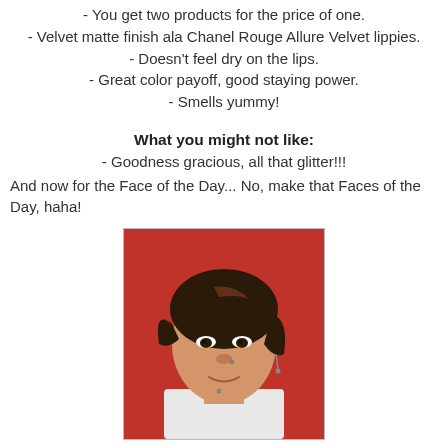- You get two products for the price of one.
- Velvet matte finish ala Chanel Rouge Allure Velvet lippies.
- Doesn't feel dry on the lips.
- Great color payoff, good staying power.
- Smells yummy!
What you might not like:
- Goodness gracious, all that glitter!!!
And now for the Face of the Day... No, make that Faces of the Day, haha!
[Figure (photo): Portrait photo of a young woman with short dark brown hair with reddish highlights, wearing a white top, against a red background. She has a nose piercing and is wearing dangling earrings.]